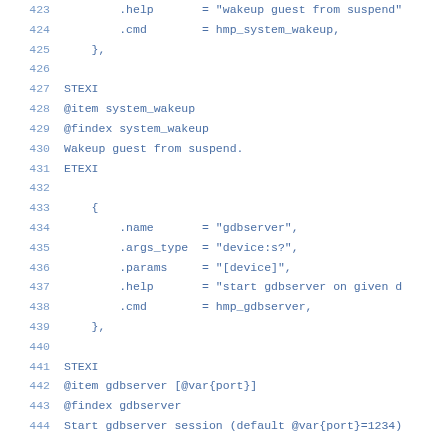Code listing lines 423-444 showing C source code with STEXI/ETEXI blocks and struct initializer entries for system_wakeup and gdbserver HMP commands